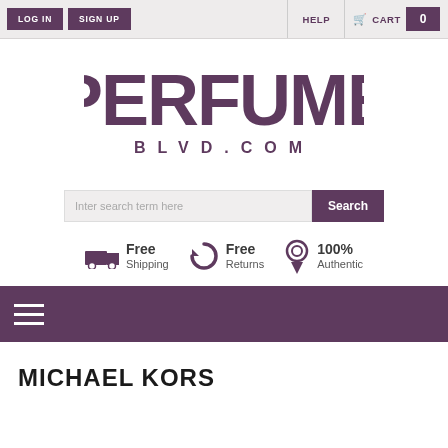LOG IN | SIGN UP | HELP | CART 0
[Figure (logo): PERFUME BLVD.COM logo in dark purple]
Inter search term here [Search button]
Free Shipping | Free Returns | 100% Authentic
[Figure (other): Purple navigation bar with hamburger menu icon]
MICHAEL KORS